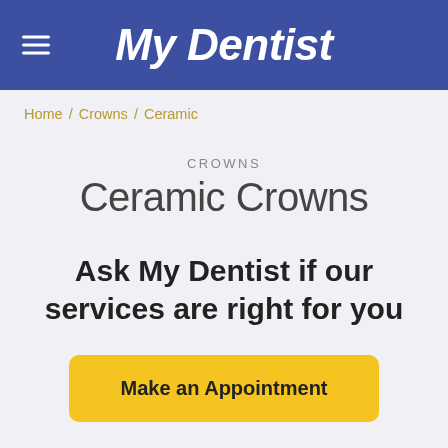My Dentist
Home / Crowns / Ceramic
CROWNS
Ceramic Crowns
Ask My Dentist if our services are right for you
Make an Appointment